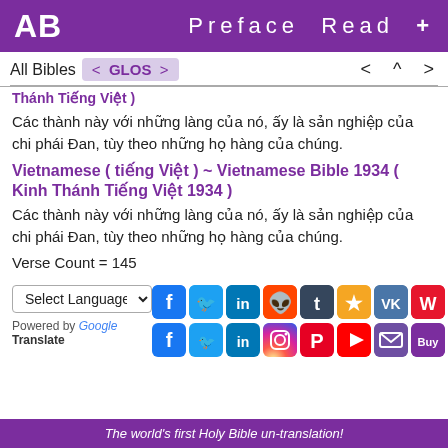AB  Preface  Read  +
All Bibles  < GLOS >    < ^ >
Thánh Tiếng Việt )
Các thành này với những làng của nó, ấy là sản nghiệp của chi phái Đan, tùy theo những họ hàng của chúng.
Vietnamese ( tiếng Việt ) ~ Vietnamese Bible 1934 ( Kinh Thánh Tiếng Việt 1934 )
Các thành này với những làng của nó, ấy là sản nghiệp của chi phái Đan, tùy theo những họ hàng của chúng.
Verse Count = 145
[Figure (screenshot): Social media sharing icons in two rows: Facebook, Twitter, LinkedIn, Reddit, Tumblr, Favstar, VK, Weibo top row; Facebook, Twitter, LinkedIn, Instagram, Pinterest, YouTube, Email, Buy bottom row]
The world's first Holy Bible un-translation!